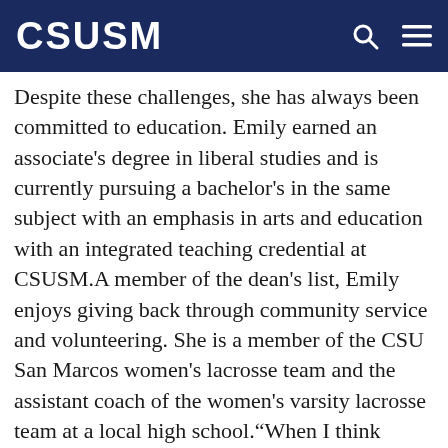CSUSM
Despite these challenges, she has always been committed to education. Emily earned an associate’s degree in liberal studies and is currently pursuing a bachelor's in the same subject with an emphasis in arts and education with an integrated teaching credential at CSUSM.A member of the dean's list, Emily enjoys giving back through community service and volunteering. She is a member of the CSU San Marcos women's lacrosse team and the assistant coach of the women's varsity lacrosse team at a local high school.“When I think about my personal history, I know that each event in my life has shaped me into the person I am today,” reflected Emily, who says the scholarship has relieved the financial stress of attending college, allowing her to focus on her classes. “Life can beat you down, but it